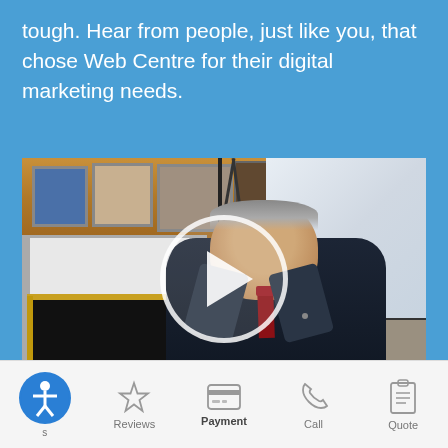tough. Hear from people, just like you, that chose Web Centre for their digital marketing needs.
[Figure (screenshot): Video thumbnail showing a man in a dark suit with a red tie seated near a fireplace with a wood mantle and framed photos. A large circular play button is overlaid in the center of the video.]
Accessibility | Reviews | Payment | Call | Quote